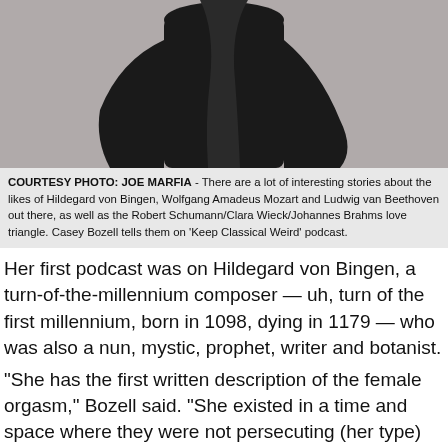[Figure (photo): Black garment or clothing item photographed against a light gray background, upper portion of body/figure visible]
COURTESY PHOTO: JOE MARFIA - There are a lot of interesting stories about the likes of Hildegard von Bingen, Wolfgang Amadeus Mozart and Ludwig van Beethoven out there, as well as the Robert Schumann/Clara Wieck/Johannes Brahms love triangle. Casey Bozell tells them on 'Keep Classical Weird' podcast.
Her first podcast was on Hildegard von Bingen, a turn-of-the-millennium composer — uh, turn of the first millennium, born in 1098, dying in 1179 — who was also a nun, mystic, prophet, writer and botanist.
"She has the first written description of the female orgasm," Bozell said. "She existed in a time and space where they were not persecuting (her type) for things they said and done. She existed at the perfect time.
"She's a lot like Dionne Warwick, who had ads for the Psychic Friends Network."